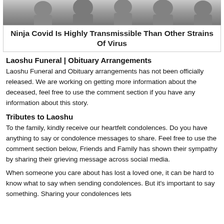[Figure (photo): Partial photo of people, cropped at top of page]
Ninja Covid Is Highly Transmissible Than Other Strains Of Virus
Laoshu Funeral | Obituary Arrangements
Laoshu Funeral and Obituary arrangements has not been officially released. We are working on getting more information about the deceased, feel free to use the comment section if you have any information about this story.
Tributes to Laoshu
To the family, kindly receive our heartfelt condolences. Do you have anything to say or condolence messages to share. Feel free to use the comment section below, Friends and Family has shown their sympathy by sharing their grieving message across social media.
When someone you care about has lost a loved one, it can be hard to know what to say when sending condolences. But it's important to say something. Sharing your condolences lets